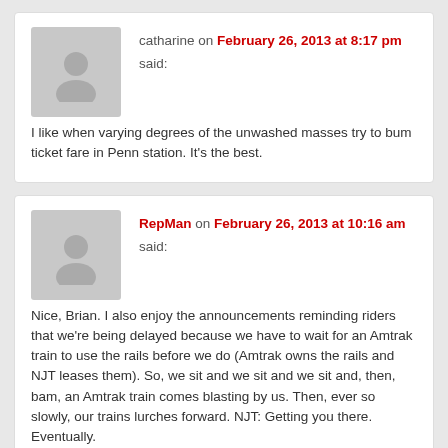catharine on February 26, 2013 at 8:17 pm said: I like when varying degrees of the unwashed masses try to bum ticket fare in Penn station. It's the best.
RepMan on February 26, 2013 at 10:16 am said: Nice, Brian. I also enjoy the announcements reminding riders that we're being delayed because we have to wait for an Amtrak train to use the rails before we do (Amtrak owns the rails and NJT leases them). So, we sit and we sit and we sit and, then, bam, an Amtrak train comes blasting by us. Then, ever so slowly, our trains lurches forward. NJT: Getting you there. Eventually.